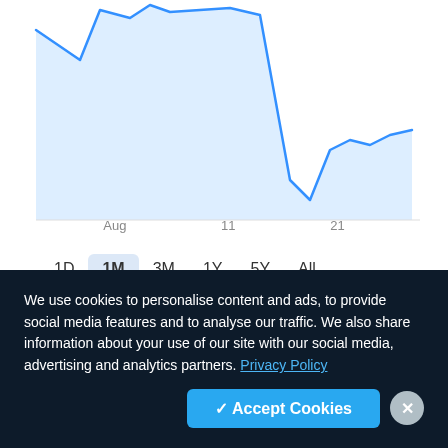[Figure (area-chart): Bitcoin price area chart showing price movement over 1 month (Aug to 21), with a peak on the left, a steep drop in the middle, and partial recovery on the right. Blue line on light blue fill.]
Aug   11   21
1D  1M  3M  1Y  5Y  All
| Symbol | Name | Price | Change |
| --- | --- | --- | --- |
| BTCUSD | Bitcoin | 21644.11 | +82.25  +0.38% |
| ETHUSD | Ethereum | 1682.73 | −13.01  −0.77% |
We use cookies to personalise content and ads, to provide social media features and to analyse our traffic. We also share information about your use of our site with our social media, advertising and analytics partners. Privacy Policy
✓ Accept Cookies